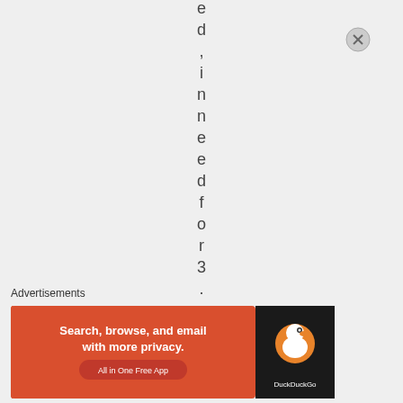e d , i n n e e d f o r 3 .
Advertisements
[Figure (illustration): DuckDuckGo advertisement banner: orange/red background with text 'Search, browse, and email with more privacy. All in One Free App' on left side, and DuckDuckGo logo on dark background on the right side. An X/close button appears to the right of the banner.]